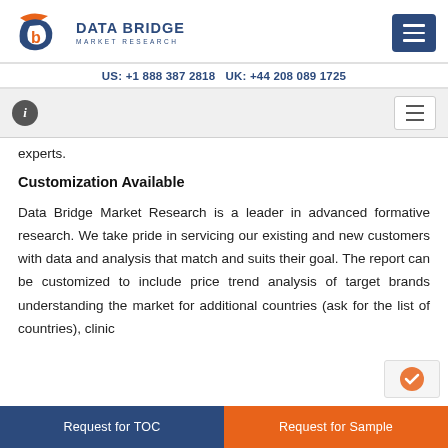DATA BRIDGE MARKET RESEARCH — US: +1 888 387 2818 UK: +44 208 089 1725
Customization Available
experts.
Data Bridge Market Research is a leader in advanced formative research. We take pride in servicing our existing and new customers with data and analysis that match and suits their goal. The report can be customized to include price trend analysis of target brands understanding the market for additional countries (ask for the list of countries), clinic
Request for TOC | Request for Sample